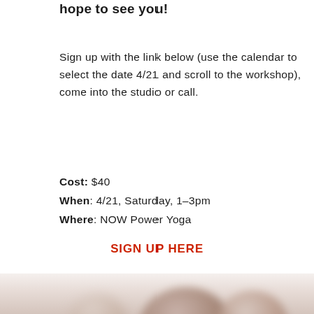hope to see you!
Sign up with the link below (use the calendar to select the date 4/21 and scroll to the workshop), come into the studio or call.
Cost: $40
When: 4/21, Saturday, 1-3pm
Where: NOW Power Yoga
SIGN UP HERE
[Figure (photo): Blurred photo of yoga props (likely yoga blocks or balls) at the bottom of the page]